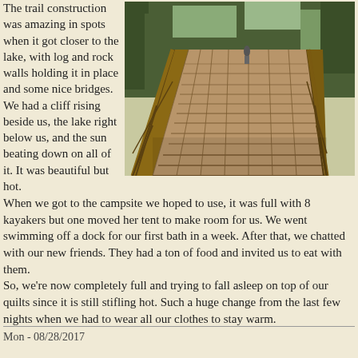The trail construction was amazing in spots when it got closer to the lake, with log and rock walls holding it in place and some nice bridges. We had a cliff rising beside us, the lake right below us, and the sun beating down on all of it. It was beautiful but hot.
[Figure (photo): A long wooden footbridge/trestle trail bridge extending into the distance through a forested mountainside area near a lake, with wooden railings on both sides and a hiker visible in the distance.]
When we got to the campsite we hoped to use, it was full with 8 kayakers but one moved her tent to make room for us. We went swimming off a dock for our first bath in a week. After that, we chatted with our new friends. They had a ton of food and invited us to eat with them.
So, we're now completely full and trying to fall asleep on top of our quilts since it is still stifling hot. Such a huge change from the last few nights when we had to wear all our clothes to stay warm.
Mon - 08/28/2017